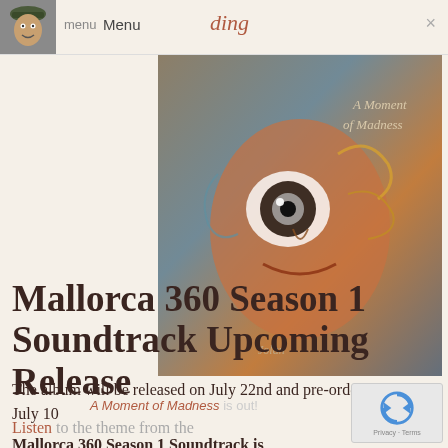menu Menu  ding  ×
[Figure (illustration): Album cover art for 'A Moment of Madness' — colorful surrealist painting of a face with exaggerated wide eye, shown as a semi-transparent overlay. Text on the image reads 'A Moment of Madness']
Mallorca 360 Season 1 Soundtrack Upcoming Release
The album will be released on July 22nd and pre-orders begin on July 10
Listen to the theme from the Mallorca 360 Season 1 Soundtrack is